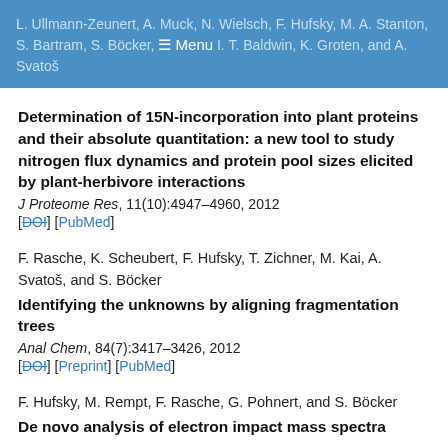L. Ullmann-Zeunert, A. Muck, N. Wielsch, F. Hufsky, M. A. Stanton, S. Bartram, S. Böcker, I. T. Baldwin, K. Groten, and A. Svatoš
Determination of 15N-incorporation into plant proteins and their absolute quantitation: a new tool to study nitrogen flux dynamics and protein pool sizes elicited by plant-herbivore interactions
J Proteome Res, 11(10):4947–4960, 2012
[DOI] [PubMed]
F. Rasche, K. Scheubert, F. Hufsky, T. Zichner, M. Kai, A. Svatoš, and S. Böcker
Identifying the unknowns by aligning fragmentation trees
Anal Chem, 84(7):3417–3426, 2012
[DOI] [Preprint] [PubMed]
F. Hufsky, M. Rempt, F. Rasche, G. Pohnert, and S. Böcker
De novo analysis of electron impact mass spectra